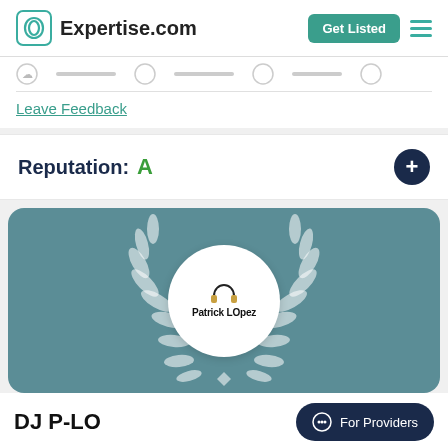Expertise.com
Leave Feedback
Reputation:  A
[Figure (logo): Patrick LOpez DJ logo with headphones inside white circle with laurel wreath, on teal/slate blue background]
DJ P-LO
For Providers